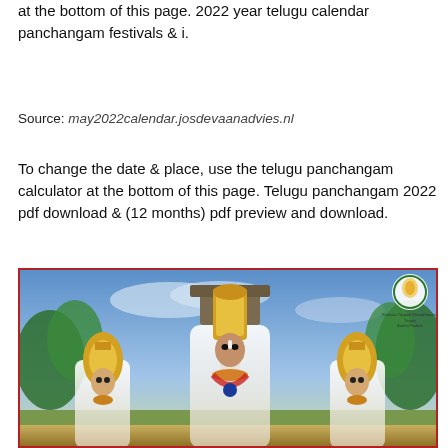at the bottom of this page. 2022 year telugu calendar panchangam festivals & i.
Source: may2022calendar.josdevaanadvies.nl
To change the date & place, use the telugu panchangam calculator at the bottom of this page. Telugu panchangam 2022 pdf download & (12 months) pdf preview and download.
[Figure (photo): Photo of Hindu deity figures (Venkateswara and consorts) in traditional ornamental attire with a natural background. Tirumala Tirupati Devasthanams logo visible in upper right corner.]